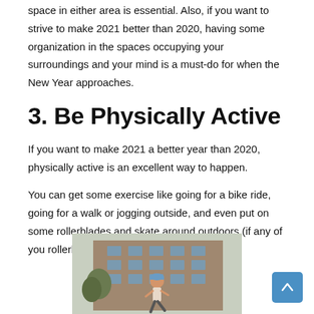space in either area is essential. Also, if you want to strive to make 2021 better than 2020, having some organization in the spaces occupying your surroundings and your mind is a must-do for when the New Year approaches.
3. Be Physically Active
If you want to make 2021 a better year than 2020, physically active is an excellent way to happen.
You can get some exercise like going for a bike ride, going for a walk or jogging outside, and even put on some rollerblades and skate around outdoors (if any of you rollerblade, I do, and it's fun).
[Figure (photo): A person wearing a blue cap jogging outdoors in front of a multi-story brick building with trees visible]